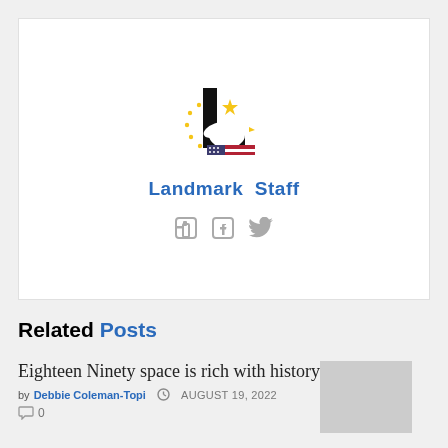[Figure (logo): Landmark Staff logo: stylized letter L in black with eagle and American flag motif, surrounded by yellow stars]
Landmark Staff
[Figure (other): Social media icons: Facebook and Twitter in gray]
Related Posts
Eighteen Ninety space is rich with history
by Debbie Coleman-Topi  AUGUST 19, 2022
0